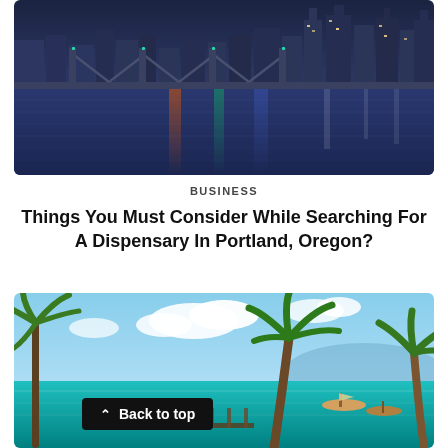[Figure (photo): Night cityscape photo showing a city bridge and skyline reflected in a river, with blue-purple tones and city lights]
BUSINESS
Things You Must Consider While Searching For A Dispensary In Portland, Oregon?
[Figure (photo): Tropical beach resort photo with palm trees, turquoise water, blue sky with clouds, and boats in the distance]
Back to top